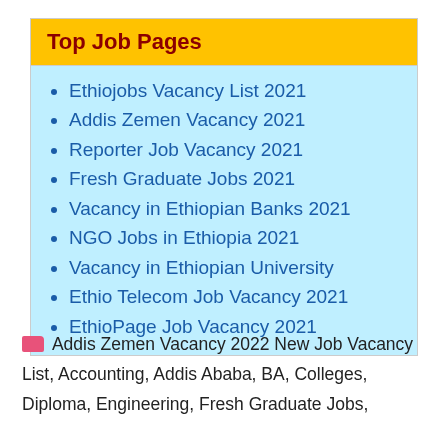Top Job Pages
Ethiojobs Vacancy List 2021
Addis Zemen Vacancy 2021
Reporter Job Vacancy 2021
Fresh Graduate Jobs 2021
Vacancy in Ethiopian Banks 2021
NGO Jobs in Ethiopia 2021
Vacancy in Ethiopian University
Ethio Telecom Job Vacancy 2021
EthioPage Job Vacancy 2021
Addis Zemen Vacancy 2022 New Job Vacancy List, Accounting, Addis Ababa, BA, Colleges, Diploma, Engineering, Fresh Graduate Jobs,